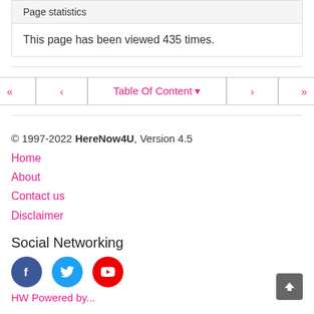Page statistics
This page has been viewed 435 times.
« < Table Of Content ▾ > »
© 1997-2022 HereNow4U, Version 4.5
Home
About
Contact us
Disclaimer
Social Networking
[Figure (infographic): Social media icons: Facebook (dark blue circle with f), Twitter (light blue circle with bird), YouTube (red circle with play button)]
HW Powered by...